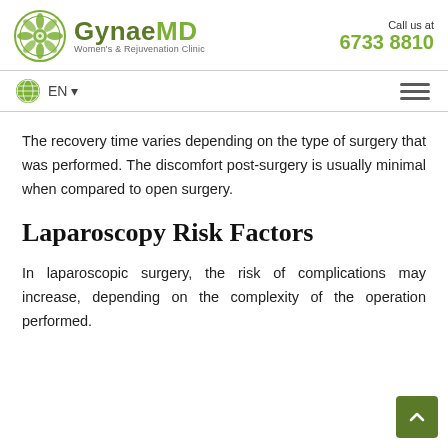[Figure (logo): GynaeMD Women's & Rejuvenation Clinic logo with circular floral emblem and call us at 6733 8810]
EN  [hamburger menu icon]
The recovery time varies depending on the type of surgery that was performed. The discomfort post-surgery is usually minimal when compared to open surgery.
Laparoscopy Risk Factors
In laparoscopic surgery, the risk of complications may increase, depending on the complexity of the operation performed.